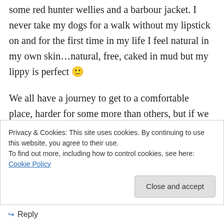some red hunter wellies and a barbour jacket. I never take my dogs for a walk without my lipstick on and for the first time in my life I feel natural in my own skin…natural, free, caked in mud but my lippy is perfect 🙂
We all have a journey to get to a comfortable place, harder for some more than others, but if we can open our heart and become at one with nature around us we can forget how different we are.
Privacy & Cookies: This site uses cookies. By continuing to use this website, you agree to their use. To find out more, including how to control cookies, see here: Cookie Policy
↵ Reply